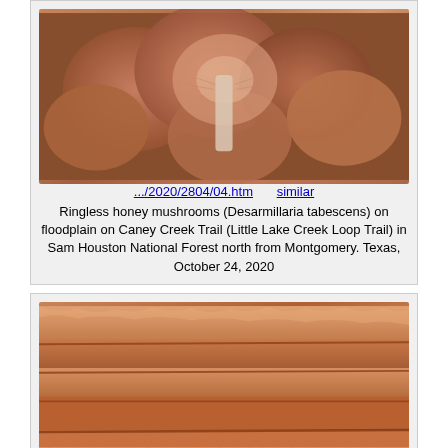[Figure (photo): Photo of ringless honey mushrooms (Desarmillaria tabescens) clustered on floodplain, showing brown cap tops and gills from above]
.../2020/2804/04.htm    similar
Ringless honey mushrooms (Desarmillaria tabescens) on floodplain on Caney Creek Trail (Little Lake Creek Loop Trail) in Sam Houston National Forest north from Montgomery. Texas, October 24, 2020
[Figure (photo): Photo of dissected polypore mushroom Piptoporellus soloniensis showing interior cross-section from a log on floodplain on Caney Creek, with layered orange-brown flesh texture]
.../2022/3180/21.htm    similar
Dissected polypore mushroom Piptoporellus soloniensis from a log on floodplain on Caney